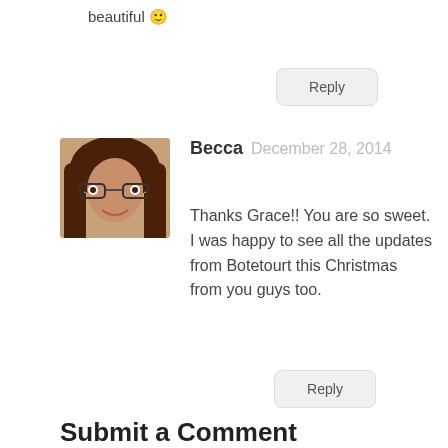beautiful 🙂
Reply
[Figure (photo): Avatar photo of Becca, a woman with long brown hair and glasses, smiling]
Becca  December 28, 2014
Thanks Grace!! You are so sweet. I was happy to see all the updates from Botetourt this Christmas from you guys too.
Reply
Submit a Comment